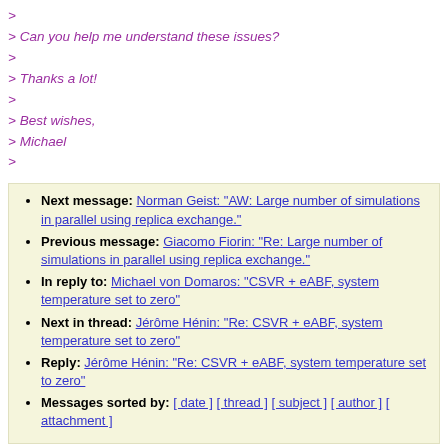>
> Can you help me understand these issues?
>
> Thanks a lot!
>
> Best wishes,
> Michael
>
Next message: Norman Geist: "AW: Large number of simulations in parallel using replica exchange."
Previous message: Giacomo Fiorin: "Re: Large number of simulations in parallel using replica exchange."
In reply to: Michael von Domaros: "CSVR + eABF, system temperature set to zero"
Next in thread: Jérôme Hénin: "Re: CSVR + eABF, system temperature set to zero"
Reply: Jérôme Hénin: "Re: CSVR + eABF, system temperature set to zero"
Messages sorted by: [ date ] [ thread ] [ subject ] [ author ] [ attachment ]
This archive was generated by hypermail 2.1.6 : Thu Dec 31 2020 - 23:17:10 CST